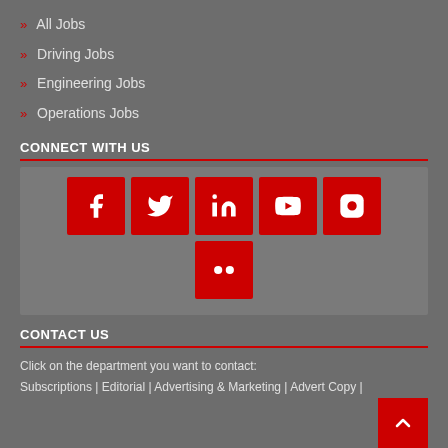» All Jobs
» Driving Jobs
» Engineering Jobs
» Operations Jobs
CONNECT WITH US
[Figure (infographic): Social media icons: Facebook, Twitter, LinkedIn, YouTube, Instagram (row 1); Flickr (row 2 center). All icons are white on red square backgrounds within a grey container.]
CONTACT US
Click on the department you want to contact:
Subscriptions | Editorial | Advertising & Marketing | Advert Copy |